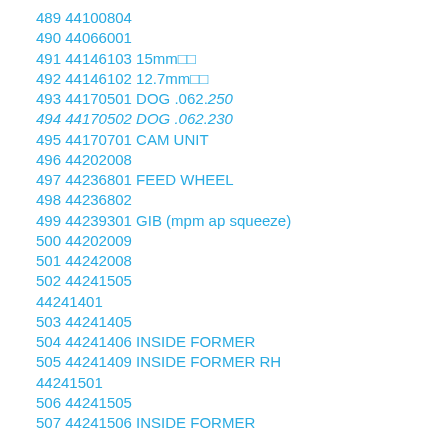489 44100804
490 44066001
491 44146103 15mm□□
492 44146102 12.7mm□□
493 44170501 DOG .062.250
494 44170502 DOG .062.230
495 44170701 CAM UNIT
496 44202008
497 44236801 FEED WHEEL
498 44236802
499 44239301 GIB (mpm ap squeeze)
500 44202009
501 44242008
502 44241505
44241401
503 44241405
504 44241406 INSIDE FORMER
505 44241409 INSIDE FORMER RH
44241501
506 44241505
507 44241506 INSIDE FORMER